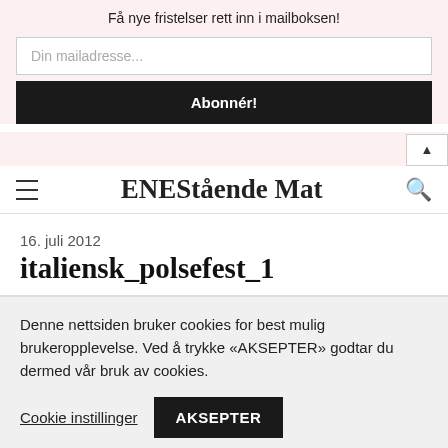Få nye fristelser rett inn i mailboksen!
Din mailadresse...
Abonnér!
ENEStående Mat
16. juli 2012
italiensk_polsefest_1
Denne nettsiden bruker cookies for best mulig brukeropplevelse. Ved å trykke «AKSEPTER» godtar du dermed vår bruk av cookies.
Cookie instillinger
AKSEPTER